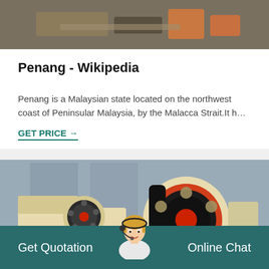[Figure (photo): Close-up photo of industrial machinery parts with rust and metal hardware]
Penang - Wikipedia
Penang is a Malaysian state located on the northwest coast of Peninsular Malaysia, by the Malacca Strait.It h…
GET PRICE →
[Figure (photo): Industrial jaw crusher machine with large black and red flywheel in a factory warehouse setting]
Get Quotation
Online Chat